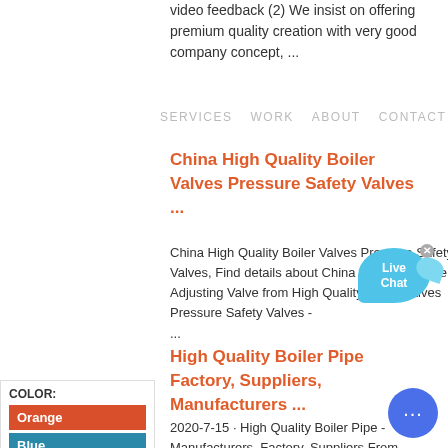video feedback (2) We insist on offering premium quality creation with very good company concept, ...
SERVICES   WORK   ABOUT   CONTACT
China High Quality Boiler Valves Pressure Safety Valves ...
China High Quality Boiler Valves Pressure Safety Valves, Find details about China Industrial Valve, Adjusting Valve from High Quality Boiler Valves Pressure Safety Valves - ...
[Figure (infographic): Live Chat bubble widget in blue]
COLOR:
Orange
Blue
Yellow
High Quality Boiler Pipe Factory, Suppliers, Manufacturers ...
2020-7-15 · High Quality Boiler Pipe - Manufacturers, Factory, Suppliers From
[Figure (infographic): Blue circle chat button with ellipsis dots]